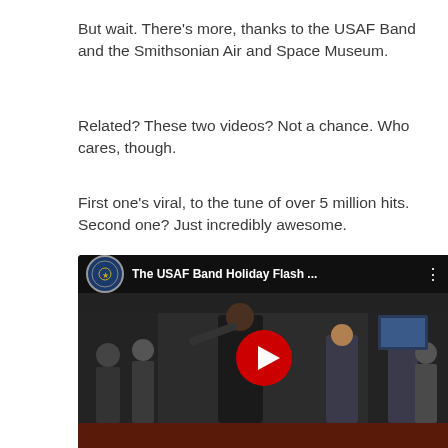But wait. There’s more, thanks to the USAF Band and the Smithsonian Air and Space Museum.
Related? These two videos? Not a chance. Who cares, though.
First one’s viral, to the tune of over 5 million hits. Second one? Just incredibly awesome.
[Figure (screenshot): YouTube video thumbnail showing The USAF Band Holiday Flash Mob performance at the Smithsonian Air and Space Museum, with musicians playing violin and other instruments, and a large YouTube play button overlay.]